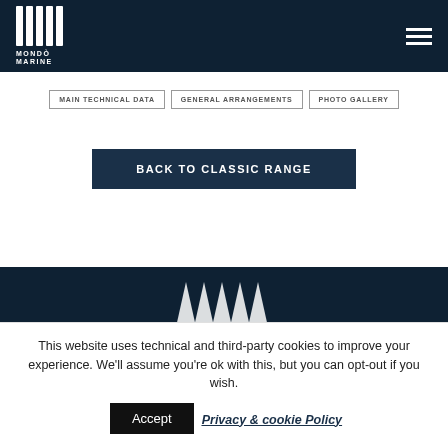[Figure (logo): Mondo Marine logo with white vertical bars and text MONDO MARINE on dark navy header]
MAIN TECHNICAL DATA
GENERAL ARRANGEMENTS
PHOTO GALLERY
BACK TO CLASSIC RANGE
[Figure (logo): Partial Mondo Marine logo white chevrons on dark navy footer background]
This website uses technical and third-party cookies to improve your experience. We'll assume you're ok with this, but you can opt-out if you wish.
Accept
Privacy & cookie Policy